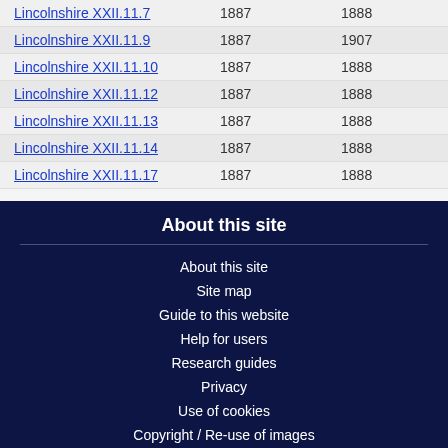| Lincolnshire XXII.11.7 | 1887 | 1888 |
| Lincolnshire XXII.11.9 | 1887 | 1907 |
| Lincolnshire XXII.11.10 | 1887 | 1888 |
| Lincolnshire XXII.11.12 | 1887 | 1888 |
| Lincolnshire XXII.11.13 | 1887 | 1888 |
| Lincolnshire XXII.11.14 | 1887 | 1888 |
| Lincolnshire XXII.11.17 | 1887 | 1888 |
About this site
About this site
Site map
Guide to this website
Help for users
Research guides
Privacy
Use of cookies
Copyright / Re-use of images
Quick search and browse